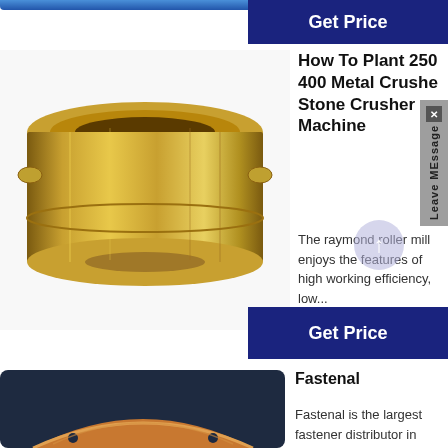[Figure (photo): Top edge of a blue banner image strip, partially visible at top left]
[Figure (other): Dark blue Get Price button at top right]
[Figure (photo): Gold/brass cylindrical crusher liner part on white background]
How To Plant 250 400 Metal Crushe Stone Crusher Machine
The raymond roller mill enjoys the features of high working efficiency, low...
[Figure (other): Dark blue Get Price button middle right]
Fastenal
[Figure (photo): Dark navy background with copper/bronze curved part, partial view at bottom]
Fastenal is the largest fastener distributor in North